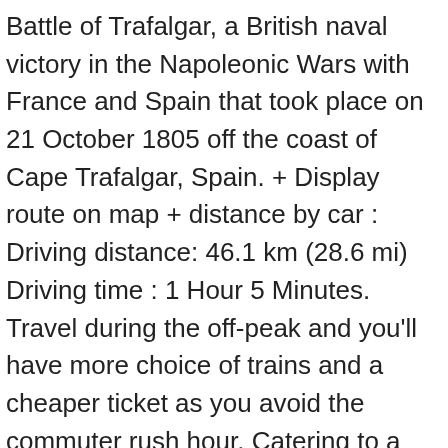Battle of Trafalgar, a British naval victory in the Napoleonic Wars with France and Spain that took place on 21 October 1805 off the coast of Cape Trafalgar, Spain. + Display route on map + distance by car : Driving distance: 46.1 km (28.6 mi) Driving time : 1 Hour 5 Minutes. Travel during the off-peak and you'll have more choice of trains and a cheaper ticket as you avoid the commuter rush hour. Catering to a wide range of tastes, there's something for everyone in the English capital. Very clean room, super friendly stuff. colleges within cycle distance of a station, including raising awareness of the facilities for cycling at stations and the regulations for taking a bike on a train. This free service is offered in partnership with Booking. The journey time may be longer on weekends and holidays. You may unsubscribe at any time by clicking the